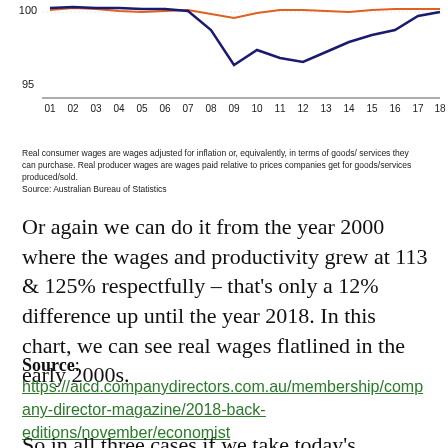[Figure (continuous-plot): Partial line chart showing real wages vs productivity indexed to 100, years 01-18. Y-axis shows 95 and 100. Two or three colored lines (orange/red and dark blue) trending around index 100 with the dark blue line dipping around 08-09 and recovering. X-axis labels: 01 02 03 04 05 06 07 08 09 10 11 12 13 14 15 16 17 18.]
Real consumer wages are wages adjusted for inflation or, equivalently, in terms of goods/services they can purchase. Real producer wages are wages paid relative to prices companies get for goods/services produced/sold.
Source: Australian Bureau of Statistics
Or again we can do it from the year 2000 where the wages and productivity grew at 113 & 125% respectfully – that's only a 12% difference up until the year 2018. In this chart, we can see real wages flatlined in the early 2000s.
Source: https://aicd.companydirectors.com.au/membership/company-director-magazine/2018-back-editions/november/economist
So in all three cases if we take today's minimum wage